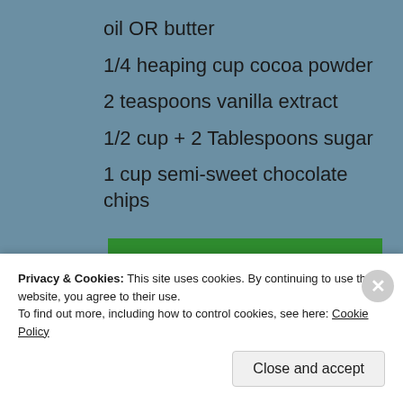oil OR butter
1/4 heaping cup cocoa powder
2 teaspoons vanilla extract
1/2 cup + 2 Tablespoons sugar
1 cup semi-sweet chocolate chips
[Figure (screenshot): Green promotional banner for WordPress backup button with 'button for your WordPress site' text and 'Back up your site' button]
Privacy & Cookies: This site uses cookies. By continuing to use this website, you agree to their use.
To find out more, including how to control cookies, see here: Cookie Policy
Close and accept